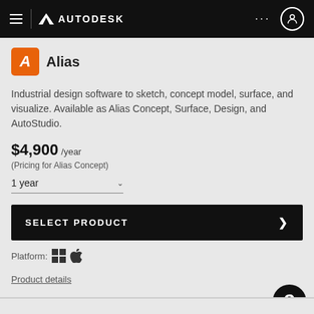AUTODESK
Alias
Industrial design software to sketch, concept model, surface, and visualize. Available as Alias Concept, Surface, Design, and AutoStudio.
$4,900 /year
(Pricing for Alias Concept)
1 year
SELECT PRODUCT
Platform: Windows, Mac
Product details
Compare